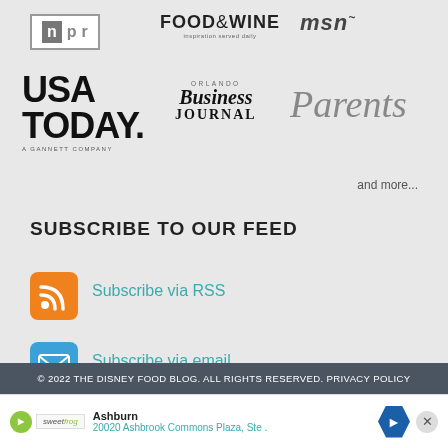[Figure (logo): NPR logo - white box with n, p, r letters]
[Figure (logo): FOOD&WINE logo with tagline 'inspiration served daily']
[Figure (logo): msn logo in italic with swoosh]
[Figure (logo): USA TODAY logo with 'A GANNETT COMPANY' tagline]
[Figure (logo): Orlando Business Journal logo]
[Figure (logo): Parents magazine logo in italic serif]
and more...
SUBSCRIBE TO OUR FEED
[Figure (logo): RSS orange icon]
Subscribe via RSS
[Figure (logo): Email blue icon]
Subscribe via email
© 2022 THE DISNEY FOOD BLOG. ALL RIGHTS RESERVED. PRIVACY POLICY
[Figure (infographic): Ad banner: Ashburn - 20020 Ashbrook Commons Plaza, Ste. with sweetfrog logo and navigation arrow]